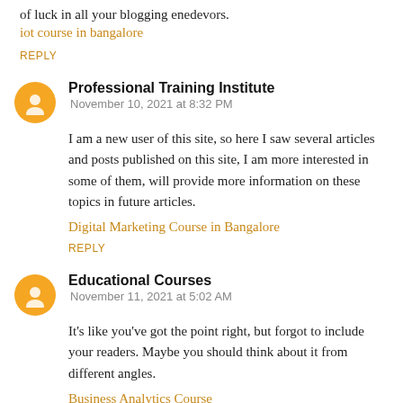of luck in all your blogging enedevors.
iot course in bangalore
REPLY
Professional Training Institute
November 10, 2021 at 8:32 PM
I am a new user of this site, so here I saw several articles and posts published on this site, I am more interested in some of them, will provide more information on these topics in future articles.
Digital Marketing Course in Bangalore
REPLY
Educational Courses
November 11, 2021 at 5:02 AM
It's like you've got the point right, but forgot to include your readers. Maybe you should think about it from different angles.
Business Analytics Course